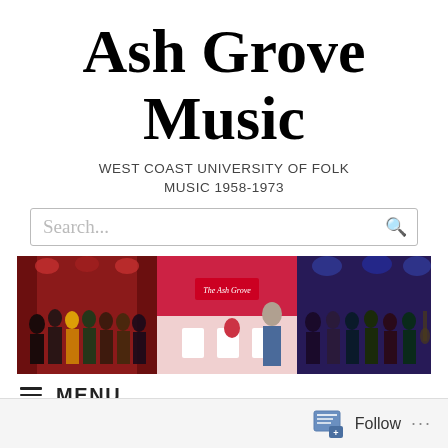Ash Grove Music
WEST COAST UNIVERSITY OF FOLK MUSIC 1958-1973
[Figure (screenshot): Search bar with placeholder text 'Search...' and a search icon on the right]
[Figure (photo): Wide horizontal banner showing multiple scenes from the Ash Grove venue: performers on stage with red curtains, a talk show setting with 'The Ash Grove' sign, and musicians performing with blue/purple lighting]
≡ MENU
Follow ...